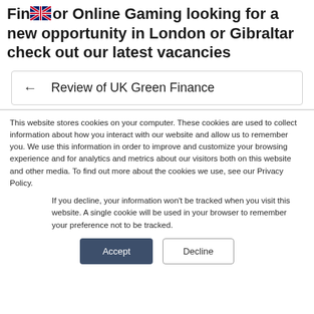Finance or Online Gaming looking for a new opportunity in London or Gibraltar check out our latest vacancies
← Review of UK Green Finance
This website stores cookies on your computer. These cookies are used to collect information about how you interact with our website and allow us to remember you. We use this information in order to improve and customize your browsing experience and for analytics and metrics about our visitors both on this website and other media. To find out more about the cookies we use, see our Privacy Policy.
If you decline, your information won't be tracked when you visit this website. A single cookie will be used in your browser to remember your preference not to be tracked.
Accept
Decline